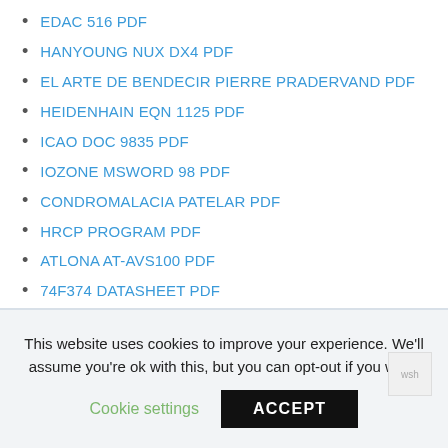EDAC 516 PDF
HANYOUNG NUX DX4 PDF
EL ARTE DE BENDECIR PIERRE PRADERVAND PDF
HEIDENHAIN EQN 1125 PDF
ICAO DOC 9835 PDF
IOZONE MSWORD 98 PDF
CONDROMALACIA PATELAR PDF
HRCP PROGRAM PDF
ATLONA AT-AVS100 PDF
74F374 DATASHEET PDF
This website uses cookies to improve your experience. We'll assume you're ok with this, but you can opt-out if you wish.
Cookie settings
ACCEPT